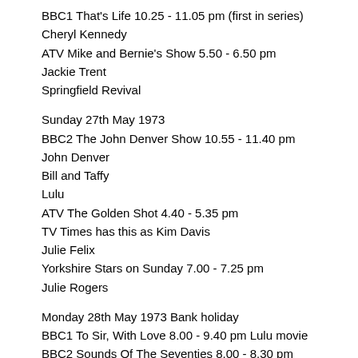BBC1 That's Life 10.25 - 11.05 pm (first in series)
Cheryl Kennedy
ATV Mike and Bernie's Show 5.50 - 6.50 pm
Jackie Trent
Springfield Revival
Sunday 27th May 1973
BBC2 The John Denver Show 10.55 - 11.40 pm
John Denver
Bill and Taffy
Lulu
ATV The Golden Shot 4.40 - 5.35 pm
TV Times has this as Kim Davis
Julie Felix
Yorkshire Stars on Sunday 7.00 - 7.25 pm
Julie Rogers
Monday 28th May 1973 Bank holiday
BBC1 To Sir, With Love 8.00 - 9.40 pm Lulu movie
BBC2 Sounds Of The Seventies 8.00 - 8.30 pm
CBS promo movie with Johnny Winter, It's A Beautiful Day, S
Thames The David Nixon Show 6.45 - 7.00 pm
Anita Harris
Tuesday 29th May 1973